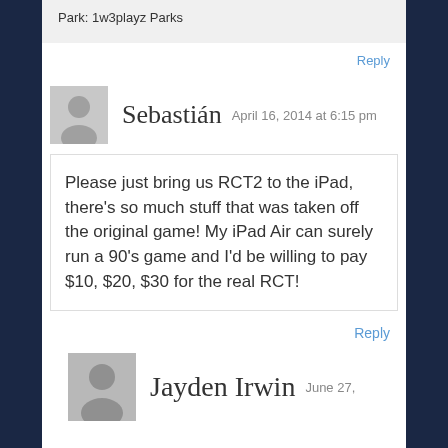Park: 1w3playz Parks
Reply
Sebastián  April 16, 2014 at 6:15 pm
Please just bring us RCT2 to the iPad, there's so much stuff that was taken off the original game! My iPad Air can surely run a 90's game and I'd be willing to pay $10, $20, $30 for the real RCT!
Reply
Jayden Irwin  June 27,